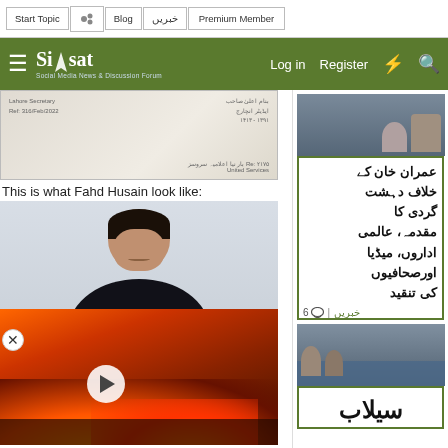Start Topic | Blog | خبریں | Premium Member | Log in | Register
[Figure (screenshot): Siasat.pk website header with logo, hamburger menu, Log in, Register, lightning bolt and search icons on olive green background]
[Figure (photo): Document/letter image scanned]
This is what Fahd Husain look like:
[Figure (photo): Portrait photo of Fahd Husain, a man in a black suit with blue tie, light background. Video overlay of fire/wildfire with play button shown in lower half.]
ok like:
[Figure (photo): Article thumbnail showing flooding scene with people and a man (Shahbaz Sharif)]
عمران خان کے خلاف دہشت گردی کا مقدمہ، عالمی اداروں، میڈیا اورصحافیوں کی تنقید
سیلاب